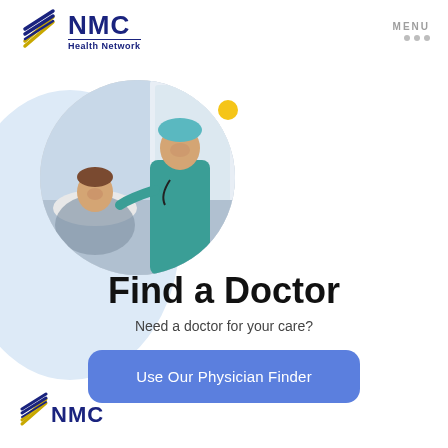[Figure (logo): NMC Health Network logo with stylized cross/star icon and text 'NMC Health Network']
[Figure (photo): Circular photo of a doctor in teal scrubs talking with a smiling female patient in a hospital bed near a window]
Find a Doctor
Need a doctor for your care?
Use Our Physician Finder
[Figure (logo): NMC logo at the bottom left — stylized cross/star icon and 'NMC' text in dark navy]